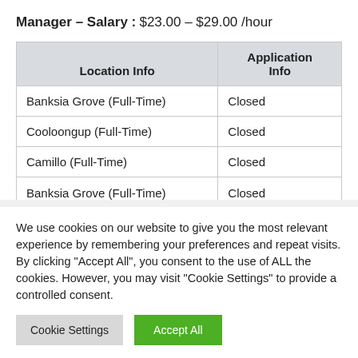Manager – Salary : $23.00 – $29.00 /hour
| Location Info | Application Info |
| --- | --- |
| Banksia Grove (Full-Time) | Closed |
| Cooloongup (Full-Time) | Closed |
| Camillo (Full-Time) | Closed |
| Banksia Grove (Full-Time) | Closed |
We use cookies on our website to give you the most relevant experience by remembering your preferences and repeat visits. By clicking "Accept All", you consent to the use of ALL the cookies. However, you may visit "Cookie Settings" to provide a controlled consent.